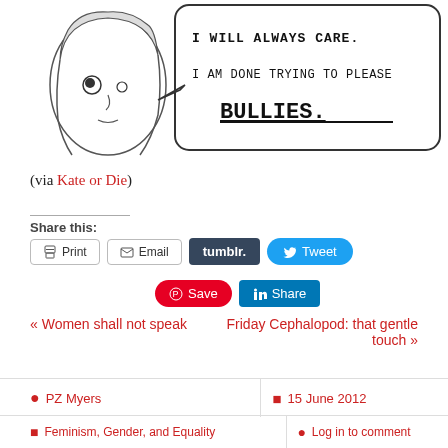[Figure (illustration): Hand-drawn cartoon of a girl with a speech bubble saying 'I WILL ALWAYS CARE. I AM DONE TRYING TO PLEASE BULLIES.' with 'BULLIES.' underlined and in large bold text]
(via Kate or Die)
Share this:
Print  Email  tumblr.  Tweet  Save  Share
« Women shall not speak
Friday Cephalopod: that gentle touch »
PZ Myers
15 June 2012
Feminism, Gender, and Equality
Log in to comment